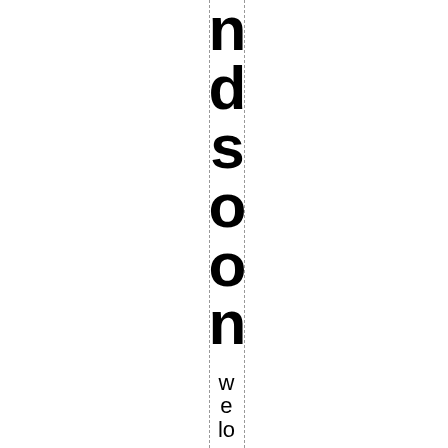ndson
weloveireland.dublin was th